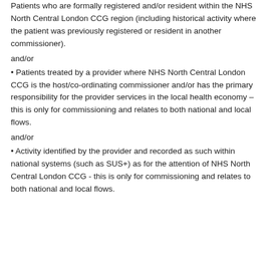Patients who are formally registered and/or resident within the NHS North Central London CCG region (including historical activity where the patient was previously registered or resident in another commissioner).
and/or
• Patients treated by a provider where NHS North Central London CCG is the host/co-ordinating commissioner and/or has the primary responsibility for the provider services in the local health economy – this is only for commissioning and relates to both national and local flows.
and/or
• Activity identified by the provider and recorded as such within national systems (such as SUS+) as for the attention of NHS North Central London CCG - this is only for commissioning and relates to both national and local flows.